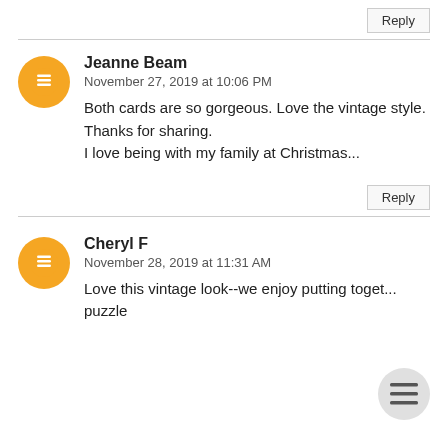Reply
Jeanne Beam
November 27, 2019 at 10:06 PM
Both cards are so gorgeous. Love the vintage style. Thanks for sharing. I love being with my family at Christmas...
Reply
Cheryl F
November 28, 2019 at 11:31 AM
Love this vintage look--we enjoy putting together a puzzle